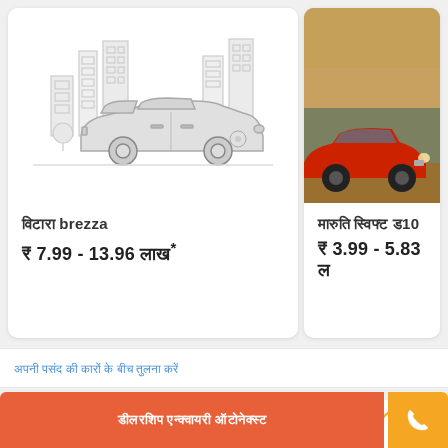[Figure (illustration): Card showing a grey sedan car illustration with city buildings in the background]
विटारा brezza
₹ 7.99 - 13.96 लाख*
[Figure (photo): Photo of a red small hatchback car on road, right-side card]
मारुति स्विफ्ट ड10
₹ 3.99 - 5.83 ल
अपनी पसंद की कारों के बीच तुलना करें
3 ऑफर्स
इस कार पर :- Savings पर to Rs.
डीलरशिप एन्क्वायरी ऑटोनेक्स्ट